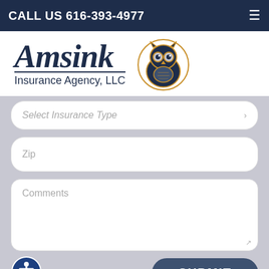CALL US 616-393-4977
[Figure (logo): Amsink Insurance Agency, LLC logo with stylized A and owl mascot]
Select Insurance Type
Zip
Comments
SUBMIT